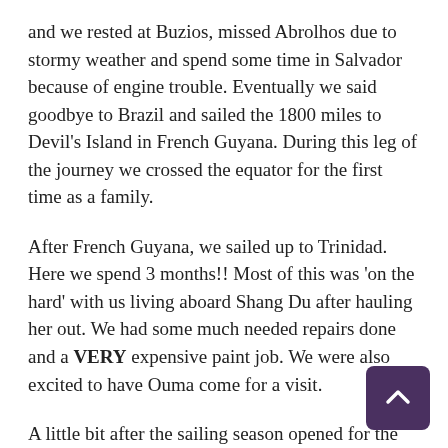and we rested at Buzios, missed Abrolhos due to stormy weather and spend some time in Salvador because of engine trouble. Eventually we said goodbye to Brazil and sailed the 1800 miles to Devil's Island in French Guyana. During this leg of the journey we crossed the equator for the first time as a family.
After French Guyana, we sailed up to Trinidad. Here we spend 3 months!! Most of this was 'on the hard' with us living aboard Shang Du after hauling her out. We had some much needed repairs done and a VERY expensive paint job. We were also excited to have Ouma come for a visit.
A little bit after the sailing season opened for the Caribbean, we were ready and moving again! Grenada, Carricou, Tobago Keys, Bequia, St. Vincent, Martinique, Dominica, Gaudeloupe and Puerto Rico.
We left the Caribbean in June, MUCH later than planned –